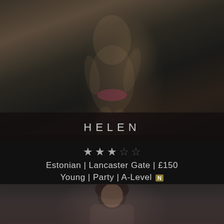[Figure (photo): Photo of a woman in a pink bikini, cropped torso and legs, posed in a luxurious bedroom setting]
HELEN
[Figure (other): 3-star rating display (3 filled stars out of 5)]
Estonian | Lancaster Gate | £150
Young | Party | A-Level N
[Figure (photo): Photo of a dark-haired person, upper body visible, shot against a neutral background]